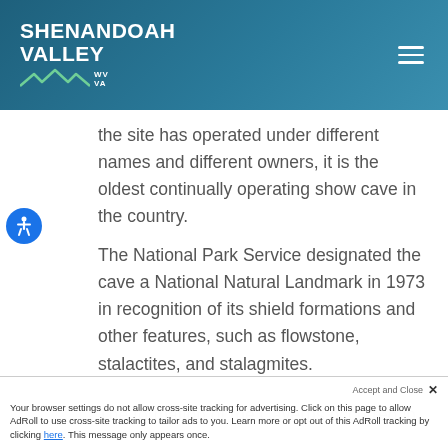SHENANDOAH VALLEY WV VA
the site has operated under different names and different owners, it is the oldest continually operating show cave in the country.
The National Park Service designated the cave a National Natural Landmark in 1973 in recognition of its shield formations and other features, such as flowstone, stalactites, and stalagmites.
The formation of the Caverns occurred in a
Your browser settings do not allow cross-site tracking for advertising. Click on this page to allow AdRoll to use cross-site tracking to tailor ads to you. Learn more or opt out of this AdRoll tracking by clicking here. This message only appears once.